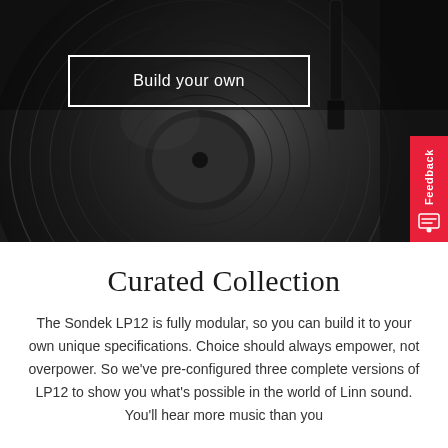[Figure (photo): Close-up black and white photograph of a vinyl record with a turntable stylus/needle in the groove. Dark, moody lighting with visible record grooves and label area.]
Build your own
Curated Collection
The Sondek LP12 is fully modular, so you can build it to your own unique specifications. Choice should always empower, not overpower. So we've pre-configured three complete versions of LP12 to show you what's possible in the world of Linn sound. You'll hear more music than you